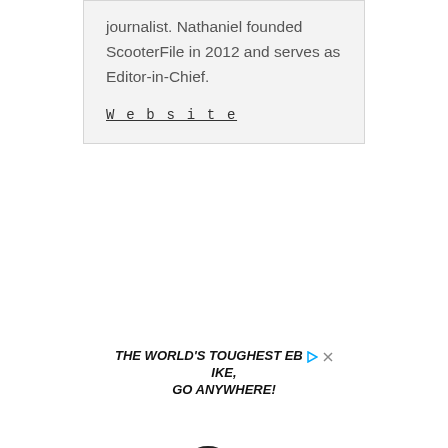journalist. Nathaniel founded ScooterFile in 2012 and serves as Editor-in-Chief.
Website
[Figure (photo): Advertisement for VENOM ebike. Bold italic uppercase text reads 'THE WORLD'S TOUGHEST EBIKE, GO ANYWHERE!' with ad icons. Below is a photo of a fat-tire electric mountain bike in camouflage/olive color. At the bottom is a dark banner with 'VENOM' in large white italic letters.]